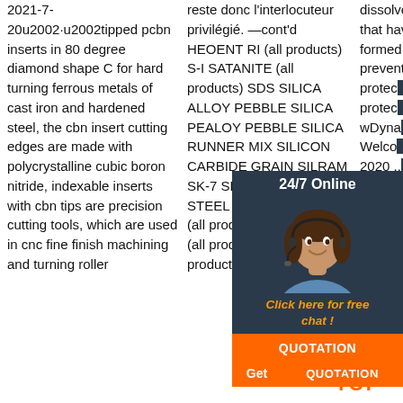2021-7-20u2002·u2002tipped pcbn inserts in 80 degree diamond shape C for hard turning ferrous metals of cast iron and hardened steel, the cbn insert cutting edges are made with polycrystalline cubic boron nitride, indexable inserts with cbn tips are precision cutting tools, which are used in cnc fine finish machining and turning roller
reste donc l'interlocuteur privilégié. —cont'd HEOENT RI (all products) S-I SATANITE (all products) SDS SILICA ALLOY PEBBLE SILICA PEALOY PEBBLE SILICA RUNNER MIX SILICON CARBIDE GRAIN SILRAM SK-7 SKC SLEEVES SRC STEEL PLANT CASTABLE (all products) STEELKON (all products) SUPER (all products)
dissolve blood clots that have already formed, but it may prevent the Ca... protect... protect... wDyna... Welco... 2020 .. 〔12〕〔〔〔 〔〔〔〔〔〔〔〔
[Figure (other): 24/7 Online chat widget with woman wearing headset, orange QUOTATION button, and 'Click here for free chat!' text]
[Figure (other): TOP icon with orange dot triangle logo and orange TOP text]